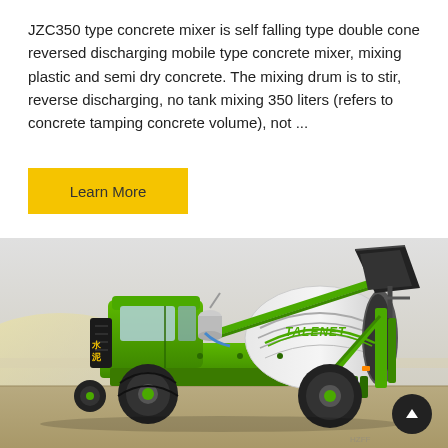JZC350 type concrete mixer is self falling type double cone reversed discharging mobile type concrete mixer, mixing plastic and semi dry concrete. The mixing drum is to stir, reverse discharging, no tank mixing 350 liters (refers to concrete tamping concrete volume), not ...
Learn More
[Figure (photo): A green TALENET brand self-loading concrete mixer truck with a large mixing drum and front-loading bucket, photographed outdoors on a paved surface with a hazy background.]